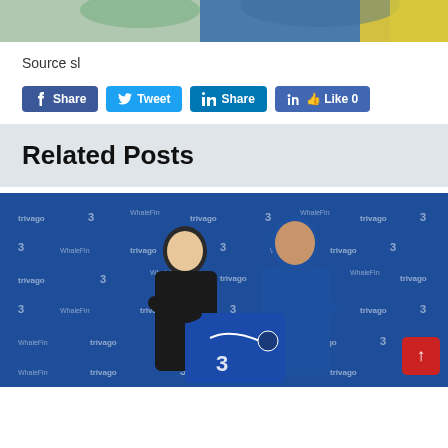[Figure (photo): Partial photo at top of page showing two people outdoors, cropped]
Source sl
Share | Tweet | Share | Like 0 (social media buttons)
Related Posts
[Figure (photo): Two men posing with a Chelsea FC blue jersey in front of a Chelsea/trivago/3/Nike/WhaleFin branded backdrop. One man in black clothing, another in a Chelsea blue shirt holding the jersey.]